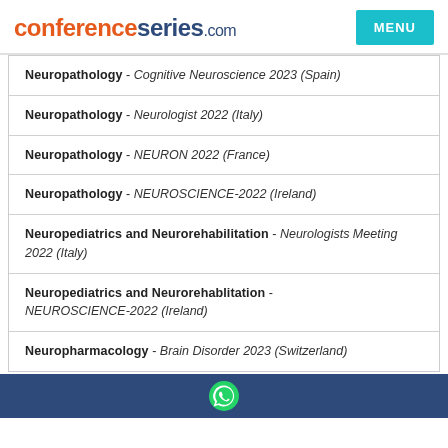conferenceseries.com MENU
Neuropathology - Cognitive Neuroscience 2023 (Spain)
Neuropathology - Neurologist 2022 (Italy)
Neuropathology - NEURON 2022 (France)
Neuropathology - NEUROSCIENCE-2022 (Ireland)
Neuropediatrics and Neurorehabilitation - Neurologists Meeting 2022 (Italy)
Neuropediatrics and Neurorehablitation - NEUROSCIENCE-2022 (Ireland)
Neuropharmacology - Brain Disorder 2023 (Switzerland)